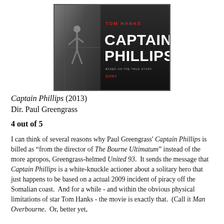[Figure (photo): Movie poster for Captain Phillips (2013) starring Tom Hanks, directed by Paul Greengrass. The poster shows a figure climbing on a ship on the left side, with red and white bold text reading 'TOM HANKS CAPTAIN PHILLIPS' on the right against a dark background, with tagline 'BASED ON THE TRUE STORY' and Sony Pictures branding.]
Captain Phillips (2013)
Dir. Paul Greengrass
4 out of 5
I can think of several reasons why Paul Greengrass' Captain Phillips is billed as “from the director of The Bourne Ultimatum” instead of the more apropos, Greengrass-helmed United 93.  It sends the message that Captain Phillips is a white-knuckle actioner about a solitary hero that just happens to be based on a actual 2009 incident of piracy off the Somalian coast.  And for a while - and within the obvious physical limitations of star Tom Hanks - the movie is exactly that.  (Call it Man Overbourne.  Or, better yet,